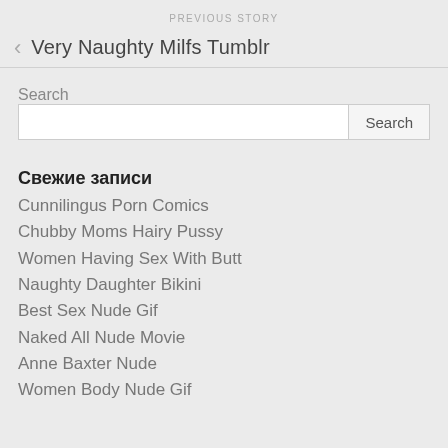PREVIOUS STORY
Very Naughty Milfs Tumblr
Search
Свежие записи
Cunnilingus Porn Comics
Chubby Moms Hairy Pussy
Women Having Sex With Butt
Naughty Daughter Bikini
Best Sex Nude Gif
Naked All Nude Movie
Anne Baxter Nude
Women Body Nude Gif